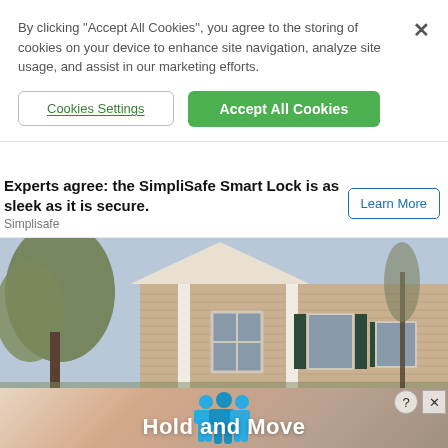By clicking “Accept All Cookies”, you agree to the storing of cookies on your device to enhance site navigation, analyze site usage, and assist in our marketing efforts.
Cookies Settings
Accept All Cookies
Experts agree: the SimpliSafe Smart Lock is as sleek as it is secure.
Simplisafe
Learn More
[Figure (photo): Exterior photo of a tan/beige single-story house with horizontal siding, white columns, windows with shutters, and trees in the background.]
[Figure (infographic): Bottom advertisement banner with a peach/salmon gradient background, two blue cartoon figures, and bold white text reading 'Hold and Move'. Has a close button (X) and help button (?) in the top right corner.]